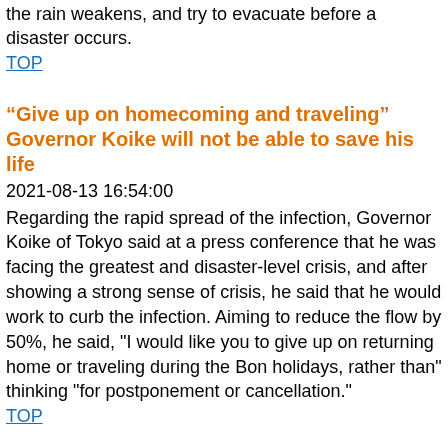the rain weakens, and try to evacuate before a disaster occurs.
TOP
“Give up on homecoming and traveling” Governor Koike will not be able to save his life
2021-08-13 16:54:00
Regarding the rapid spread of the infection, Governor Koike of Tokyo said at a press conference that he was facing the greatest and disaster-level crisis, and after showing a strong sense of crisis, he said that he would work to curb the infection. Aiming to reduce the flow by 50%, he said, "I would like you to give up on returning home or traveling during the Bon holidays, rather than" thinking "for postponement or cancellation."
TOP
Hiroshima Kitahiroshima Town's "Emergency Safety Assurance" Southern District Added to a total of 683